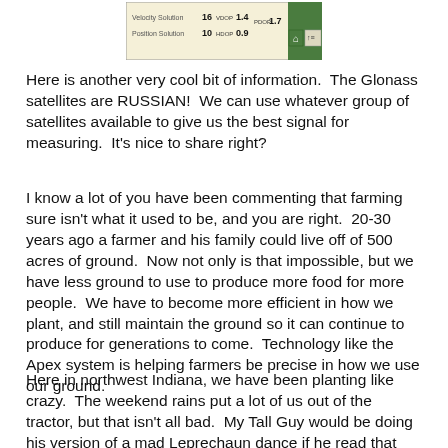[Figure (screenshot): GPS device screenshot showing Velocity Solution 16, VDOP 1.4, Position Solution 10, HDOP 0.9, PDOP 1.7, with home and menu buttons and a green sidebar]
Here is another very cool bit of information.  The Glonass satellites are RUSSIAN!  We can use whatever group of satellites available to give us the best signal for measuring.  It's nice to share right?
I know a lot of you have been commenting that farming sure isn't what it used to be, and you are right.  20-30 years ago a farmer and his family could live off of 500 acres of ground.  Now not only is that impossible, but we have less ground to use to produce more food for more people.  We have to become more efficient in how we plant, and still maintain the ground so it can continue to produce for generations to come.  Technology like the Apex system is helping farmers be precise in how we use our ground.
Here in northwest Indiana, we have been planting like crazy.  The weekend rains put a lot of us out of the tractor, but that isn't all bad.  My Tall Guy would be doing his version of a mad Leprechaun dance if he read that last statement